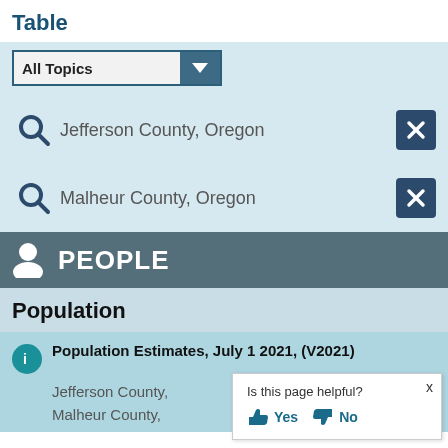Table
[Figure (screenshot): Dropdown filter box labeled 'All Topics' with dark teal arrow button]
Jefferson County, Oregon
Malheur County, Oregon
PEOPLE
Population
Population Estimates, July 1 2021, (V2021)
Jefferson County,
Malheur County,
Is this page helpful? Yes No